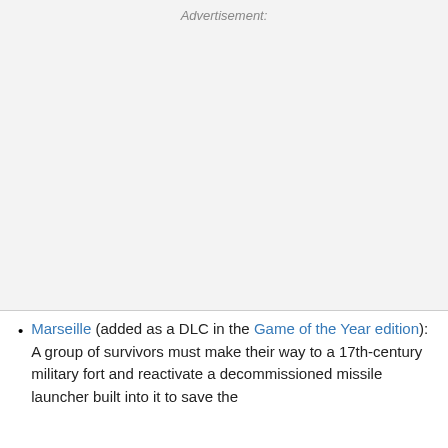[Figure (other): Advertisement placeholder area with light gray background]
Advertisement:
Marseille (added as a DLC in the Game of the Year edition): A group of survivors must make their way to a 17th-century military fort and reactivate a decommissioned missile launcher built into it to save the